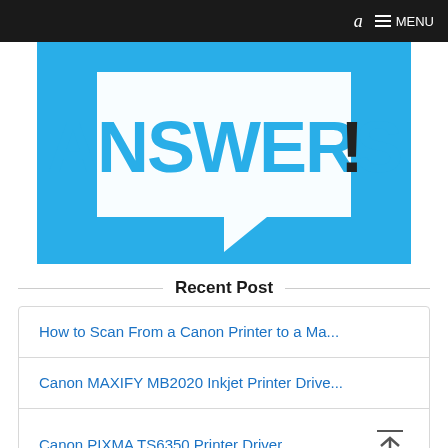a  ≡ MENU
[Figure (logo): Blue square logo with white speech bubble containing 'ANSWERS!' text in blue letters with exclamation mark]
Recent Post
How to Scan From a Canon Printer to a Ma...
Canon MAXIFY MB2020 Inkjet Printer Drive...
Canon PIXMA TS6350 Printer Driver